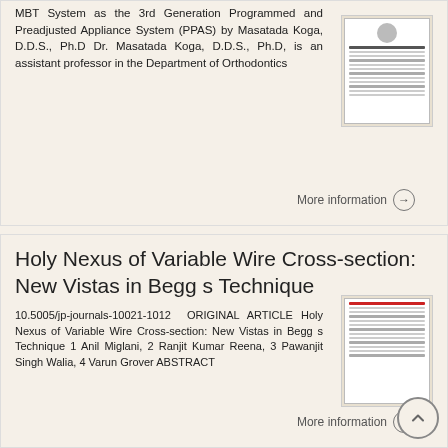MBT System as the 3rd Generation Programmed and Preadjusted Appliance System (PPAS) by Masatada Koga, D.D.S., Ph.D Dr. Masatada Koga, D.D.S., Ph.D, is an assistant professor in the Department of Orthodontics
[Figure (other): Thumbnail image of journal article page]
More information →
Holy Nexus of Variable Wire Cross-section: New Vistas in Begg s Technique
10.5005/jp-journals-10021-1012 ORIGINAL ARTICLE Holy Nexus of Variable Wire Cross-section: New Vistas in Begg s Technique 1 Anil Miglani, 2 Ranjit Kumar Reena, 3 Pawanjit Singh Walia, 4 Varun Grover ABSTRACT
[Figure (other): Thumbnail image of journal article page with red header]
More information →
Victory Series Active Self-Ligating Brackets,